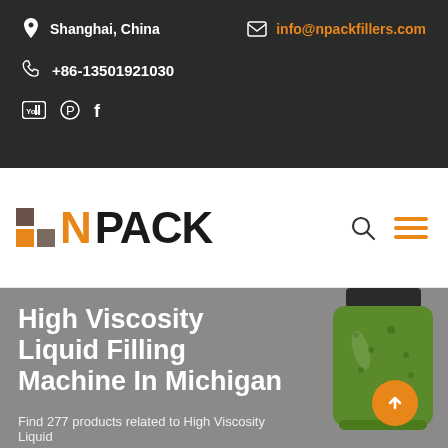Shanghai, China | info@npackfillers.com | +86-13501921030
[Figure (logo): N Pack logo with colored squares, orange N and bold black PACK text]
High Viscosity Liquid Filling Machine In Michigan
Find 277 products related to High Viscosity Liquid